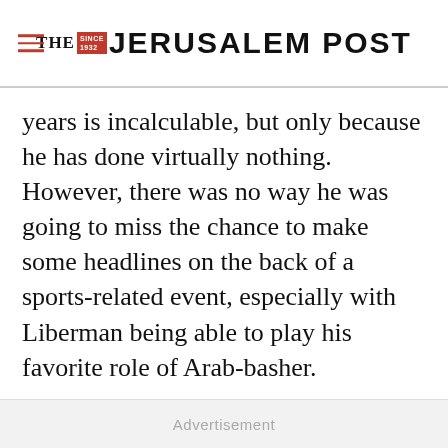THE JERUSALEM POST
years is incalculable, but only because he has done virtually nothing. However, there was no way he was going to miss the chance to make some headlines on the back of a sports-related event, especially with Liberman being able to play his favorite role of Arab-basher.
Advertisement
Advertisement